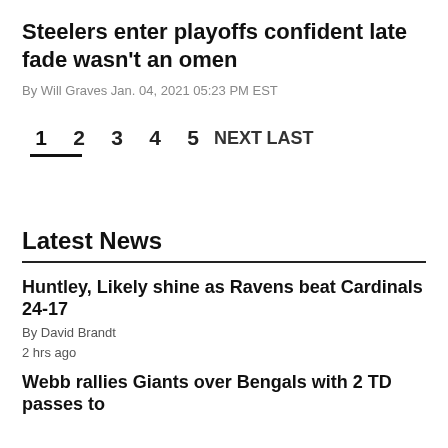Steelers enter playoffs confident late fade wasn't an omen
By Will Graves Jan. 04, 2021 05:23 PM EST
1  2  3  4  5  NEXT  LAST
Latest News
Huntley, Likely shine as Ravens beat Cardinals 24-17
By David Brandt
2 hrs ago
Webb rallies Giants over Bengals with 2 TD passes to